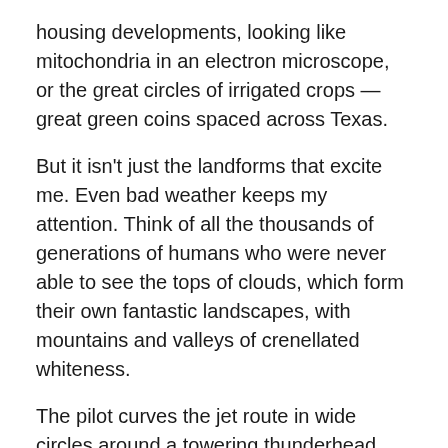housing developments, looking like mitochondria in an electron microscope, or the great circles of irrigated crops — great green coins spaced across Texas.
But it isn't just the landforms that excite me. Even bad weather keeps my attention. Think of all the thousands of generations of humans who were never able to see the tops of clouds, which form their own fantastic landscapes, with mountains and valleys of crenellated whiteness.
The pilot curves the jet route in wide circles around a towering thunderhead, bleach-white at top and sooty at bottom, with its cauliflower protuberances catching new light. The distance is crowded with them, sprouting like mushrooms to the horizon. Dozens of fresh, new thunderstorms rising sunward like children reaching up for their mothers.